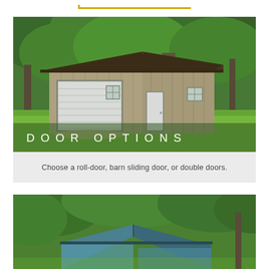[Figure (other): Decorative yellow/gold horizontal line element at the top of the page]
[Figure (photo): Outdoor photo of a metal/steel shed with tan siding and dark brown trim, featuring a white roll-up garage door on the left side and a standard white entry door on the right, set against a lush green forest background. Text overlay reads DOOR OPTIONS in white spaced letters. Below the photo is a light gray band with caption text.]
Choose a roll-door, barn sliding door, or double doors.
[Figure (photo): Partial outdoor photo of a blue/teal metal shed or building roof peeking above green trees and foliage, cut off at the bottom of the page.]